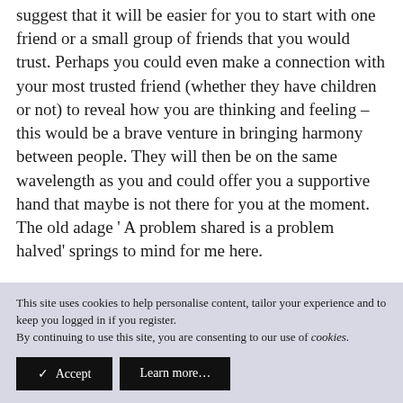suggest that it will be easier for you to start with one friend or a small group of friends that you would trust. Perhaps you could even make a connection with your most trusted friend (whether they have children or not) to reveal how you are thinking and feeling – this would be a brave venture in bringing harmony between people. They will then be on the same wavelength as you and could offer you a supportive hand that maybe is not there for you at the moment. The old adage ' A problem shared is a problem halved' springs to mind for me here.

The nuclear hexagram that is behind Hex 13 is Hex 44 Coupling. A place where the supple meets the strong – a
This site uses cookies to help personalise content, tailor your experience and to keep you logged in if you register.
By continuing to use this site, you are consenting to our use of cookies.